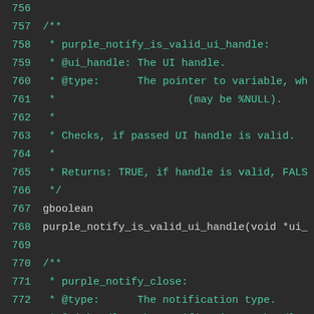[Figure (screenshot): Code editor screenshot showing C source code lines 756-775 with line numbers in teal/green on dark background. The code shows documentation comments for purple_notify_is_valid_ui_handle and purple_notify_close functions.]